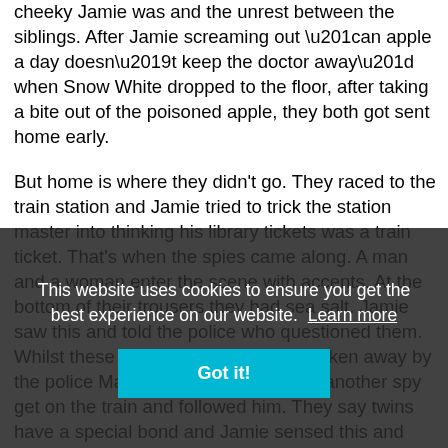cheeky Jamie was and the unrest between the siblings. After Jamie screaming out “an apple a day doesn’t keep the doctor away” when Snow White dropped to the floor, after taking a bite out of the poisoned apple, they both got sent home early.
But home is where they didn’t go. They raced to the train station and Jamie tried to trick the station master into thinking his library tickets was a train ticket. That’s when the spies came along. A man and a woman enter the scene with accents. At the bottom of their trousers they had sea salt. Jamie saw this and told the police who questioned them. Whilst these two culprits were being taken away by the police Marie saw what looked like another spy get on the train and followed him. They say twins have a special bond and Jamie sensed this and turned back to see her mount the train. It was a race for Jamie to get on too but he eventually did and in the meantime Marie had gone straight to the compartment where the spy was sitting. They talked and talked and became very friendly and
This website uses cookies to ensure you get the best experience on our website. Learn more